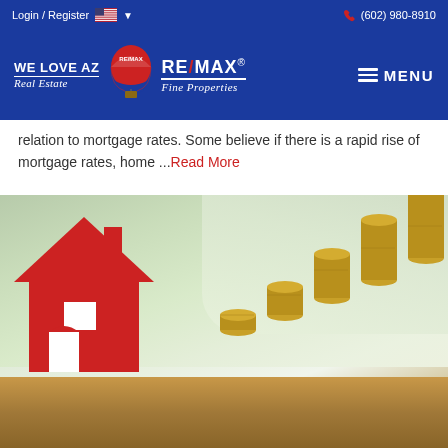Login / Register   (602) 980-8910
[Figure (logo): WE LOVE AZ Real Estate / RE/MAX Fine Properties logo with balloon mascot on blue background, with hamburger menu button]
relation to mortgage rates. Some believe if there is a rapid rise of mortgage rates, home ...Read More
[Figure (photo): Red paper house cutout next to stacks of coins growing in height, on a wooden table surface with blurred green background]